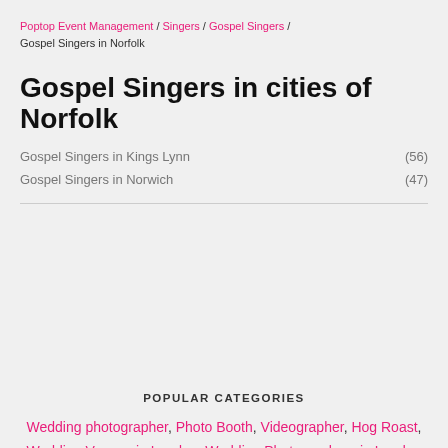Poptop Event Management / Singers / Gospel Singers / Gospel Singers in Norfolk
Gospel Singers in cities of Norfolk
Gospel Singers in Kings Lynn (56)
Gospel Singers in Norwich (47)
POPULAR CATEGORIES
Wedding photographer, Photo Booth, Videographer, Hog Roast, Wedding Venues in London, Wedding Photographers in London
[Figure (logo): Poptop logo with icon and wordmark in white on black background]